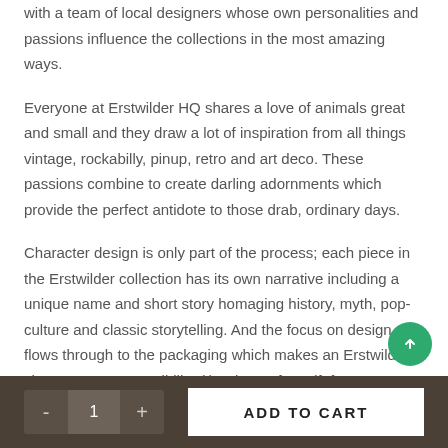with a team of local designers whose own personalities and passions influence the collections in the most amazing ways.
Everyone at Erstwilder HQ shares a love of animals great and small and they draw a lot of inspiration from all things vintage, rockabilly, pinup, retro and art deco. These passions combine to create darling adornments which provide the perfect antidote to those drab, ordinary days.
Character design is only part of the process; each piece in the Erstwilder collection has its own narrative including a unique name and short story homaging history, myth, pop-culture and classic storytelling. And the focus on design flows through to the packaging which makes an Erstwilder character – an Erstwildling(!) – the perfect gift for anyone